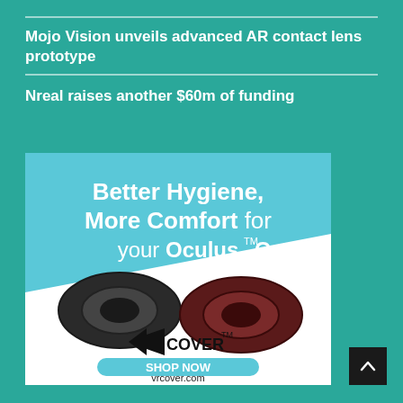Mojo Vision unveils advanced AR contact lens prototype
Nreal raises another $60m of funding
[Figure (illustration): VR Cover advertisement: 'Better Hygiene, More Comfort for your Oculus TM Quest 2' with two VR face gaskets (black and dark red), VR Cover logo, SHOP NOW button, and vrcover.com URL. Blue and white background.]